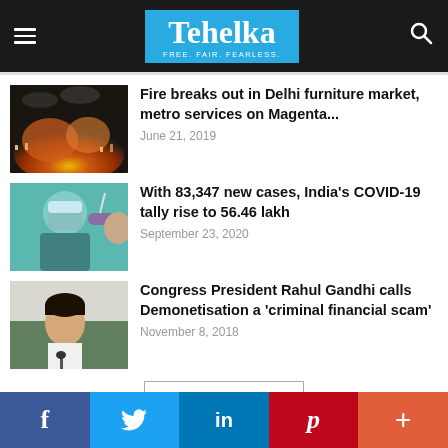Tehelka — FREE. FAIR. FEARLESS.
[Figure (photo): Fire burning at night over a city/market area with orange flames and smoke]
Fire breaks out in Delhi furniture market, metro services on Magenta...
June 21, 2019
[Figure (photo): Healthcare worker in PPE performing a COVID-19 nasal swab test on a patient]
With 83,347 new cases, India's COVID-19 tally rise to 56.46 lakh
September 23, 2020
[Figure (photo): Congress President Rahul Gandhi speaking at a press conference]
Congress President Rahul Gandhi calls Demonetisation a 'criminal financial scam'
November 8, 2018
Load more
Facebook | Twitter | LinkedIn | Pinterest | More